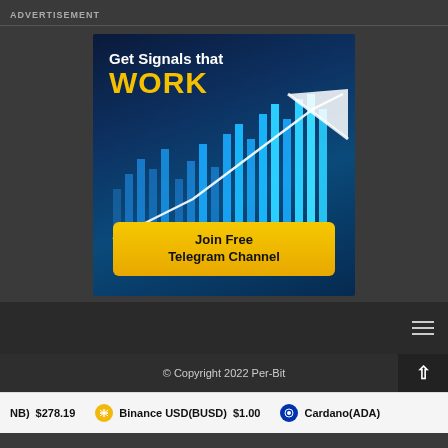ADVERTISEMENT
[Figure (illustration): Advertisement banner showing a financial chart with rising bars and an upward arrow, text reading 'Get Signals that WORK' and a yellow button 'Join Free Telegram Channel']
© Copyright 2022 Per-Bit
NB) $278.19  Binance USD(BUSD) $1.00  Cardano(ADA)